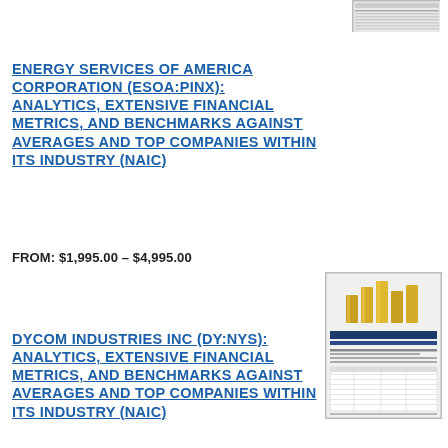[Figure (other): Thumbnail image of a financial report document, partially visible at top right]
ENERGY SERVICES OF AMERICA CORPORATION (ESOA:PINX): ANALYTICS, EXTENSIVE FINANCIAL METRICS, AND BENCHMARKS AGAINST AVERAGES AND TOP COMPANIES WITHIN ITS INDUSTRY (NAIC)
FROM: $1,995.00 – $4,995.00
[Figure (other): Thumbnail image of a financial benchmarking report with gold bar chart graphic on cover]
DYCOM INDUSTRIES INC (DY:NYS): ANALYTICS, EXTENSIVE FINANCIAL METRICS, AND BENCHMARKS AGAINST AVERAGES AND TOP COMPANIES WITHIN ITS INDUSTRY (NAIC)